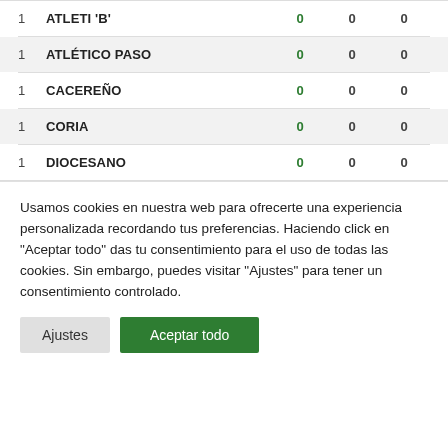| # | Team | Col1 | Col2 | Col3 |
| --- | --- | --- | --- | --- |
| 1 | ATLETI 'B' | 0 | 0 | 0 |
| 1 | ATLÉTICO PASO | 0 | 0 | 0 |
| 1 | CACEREÑO | 0 | 0 | 0 |
| 1 | CORIA | 0 | 0 | 0 |
| 1 | DIOCESANO | 0 | 0 | 0 |
Usamos cookies en nuestra web para ofrecerte una experiencia personalizada recordando tus preferencias. Haciendo click en "Aceptar todo" das tu consentimiento para el uso de todas las cookies. Sin embargo, puedes visitar "Ajustes" para tener un consentimiento controlado.